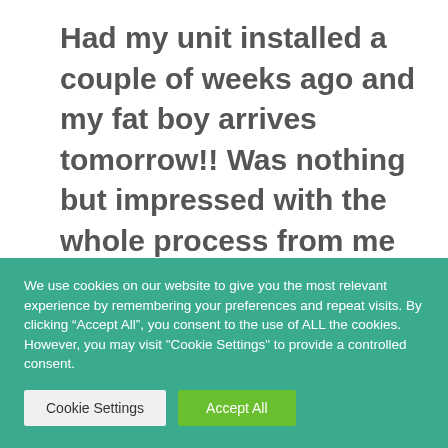Had my unit installed a couple of weeks ago and my fat boy arrives tomorrow!! Was nothing but impressed with the whole process from me deciding which unit to go for and the final installation.
We use cookies on our website to give you the most relevant experience by remembering your preferences and repeat visits. By clicking “Accept All”, you consent to the use of ALL the cookies. However, you may visit "Cookie Settings" to provide a controlled consent.